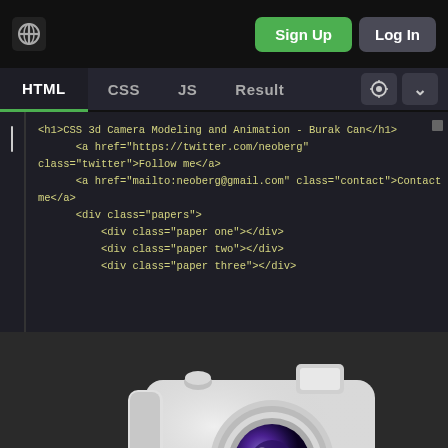[Figure (screenshot): CodePen editor interface showing a navigation bar with logo, Sign Up and Log In buttons, HTML/CSS/JS/Result tabs, a code editor panel with HTML code for CSS 3d Camera Modeling and Animation by Burak Can, and a result panel showing a 3D white CSS camera model. A bottom bar has arrow, 1.0x, Fork, Export, and Share buttons.]